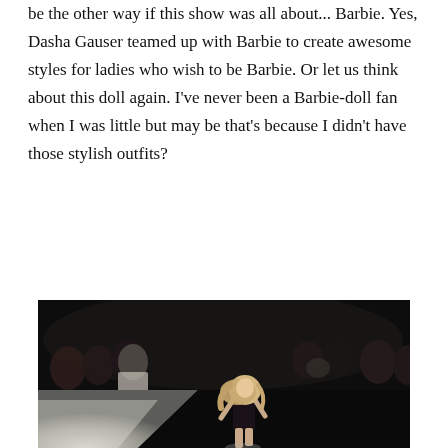be the other way if this show was all about... Barbie. Yes, Dasha Gauser teamed up with Barbie to create awesome styles for ladies who wish to be Barbie. Or let us think about this doll again. I've never been a Barbie-doll fan when I was little but may be that's because I didn't have those stylish outfits?
[Figure (photo): A fashion show runway photo taken in a dark venue. A young blonde girl in a black dress walks the runway while an audience of people watches and takes photos in the background.]